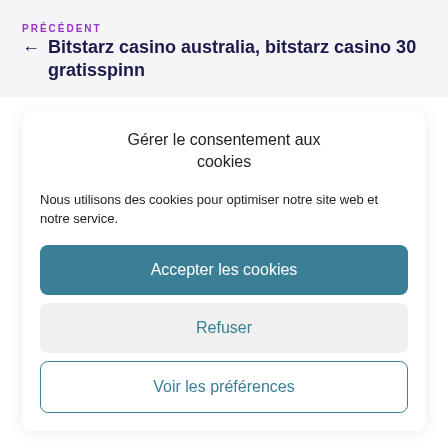PRÉCÉDENT
← Bitstarz casino australia, bitstarz casino 30 gratisspinn
Gérer le consentement aux cookies
Nous utilisons des cookies pour optimiser notre site web et notre service.
Accepter les cookies
Refuser
Voir les préférences